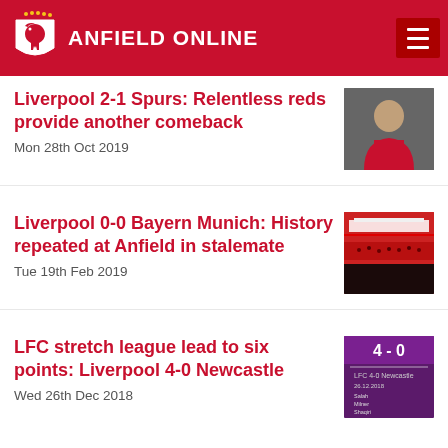ANFIELD ONLINE
Liverpool 2-1 Spurs: Relentless reds provide another comeback
Mon 28th Oct 2019
Liverpool 0-0 Bayern Munich: History repeated at Anfield in stalemate
Tue 19th Feb 2019
LFC stretch league lead to six points: Liverpool 4-0 Newcastle
Wed 26th Dec 2018